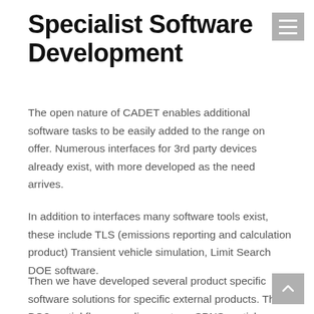Specialist Software Development
The open nature of CADET enables additional software tasks to be easily added to the range on offer. Numerous interfaces for 3rd party devices already exist, with more developed as the need arrives.
In addition to interfaces many software tools exist, these include TLS (emissions reporting and calculation product) Transient vehicle simulation, Limit Search DOE software.
Then we have developed several product specific software solutions for specific external products. The BG3 partial flow sampling system, SPNS particle number and an emissions analyser host were all developed using CADET as a basis.